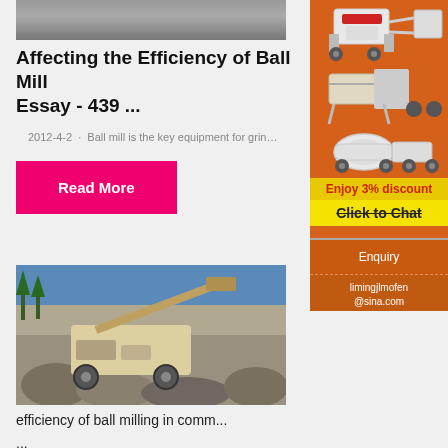[Figure (photo): Partial view of ball mill equipment at top of page]
Affecting the Efficiency of Ball Mill Essay - 439 ...
2012-4-2 · Ball mill is the key equipment for grin…
Read More
[Figure (photo): Mining site with heavy machinery and excavator in rocky terrain]
efficiency of ball milling in comm...
...
[Figure (photo): Side banner: mining/crushing equipment illustrations on orange background with Enjoy 3% discount / Click to Chat / Enquiry / limingjlmofen@sina.com]